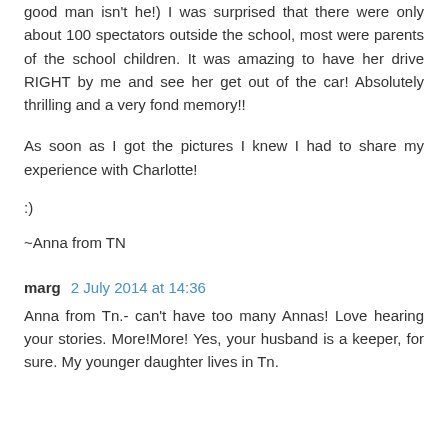good man isn't he!) I was surprised that there were only about 100 spectators outside the school, most were parents of the school children. It was amazing to have her drive RIGHT by me and see her get out of the car! Absolutely thrilling and a very fond memory!!
As soon as I got the pictures I knew I had to share my experience with Charlotte!
:)
~Anna from TN
marg  2 July 2014 at 14:36
Anna from Tn.- can't have too many Annas! Love hearing your stories. More!More! Yes, your husband is a keeper, for sure. My younger daughter lives in Tn.